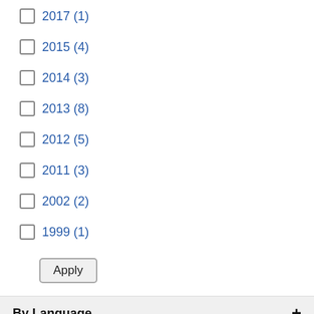2017 (1)
2015 (4)
2014 (3)
2013 (8)
2012 (5)
2011 (3)
2002 (2)
1999 (1)
Apply
By Language